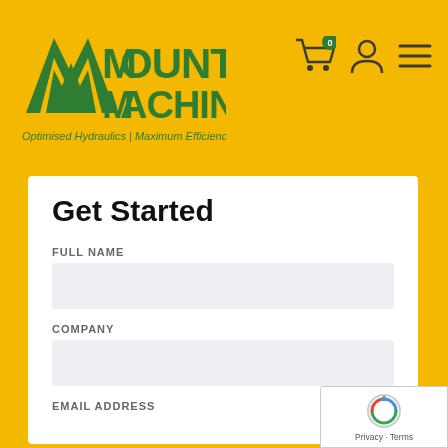[Figure (logo): Mount Machinery logo with green mountain/M icon and green text 'MOUNT MACHINERY', tagline 'Optimised Hydraulics | Maximum Efficiency']
[Figure (other): Navigation icons: shopping cart with badge showing 0, user/account icon, hamburger menu icon]
Get Started
FULL NAME
COMPANY
EMAIL ADDRESS
[Figure (other): Google reCAPTCHA badge with spinning icon and 'Privacy · Terms' text]